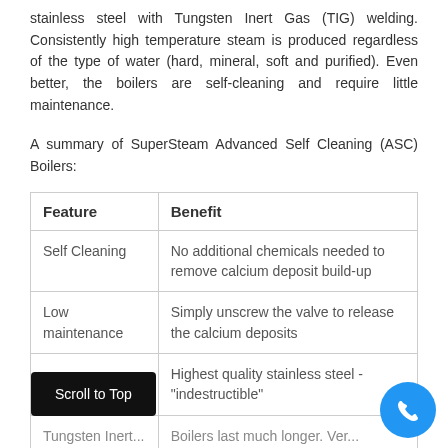stainless steel with Tungsten Inert Gas (TIG) welding. Consistently high temperature steam is produced regardless of the type of water (hard, mineral, soft and purified). Even better, the boilers are self-cleaning and require little maintenance.
A summary of SuperSteam Advanced Self Cleaning (ASC) Boilers:
| Feature | Benefit |
| --- | --- |
| Self Cleaning | No additional chemicals needed to remove calcium deposit build-up |
| Low maintenance | Simply unscrew the valve to release the calcium deposits |
| [Scroll to Top overlay] [stainless steel material row partial] | Highest quality stainless steel - "indestructible" |
| Tungsten Inert... | Boilers last much longer. Ver... |